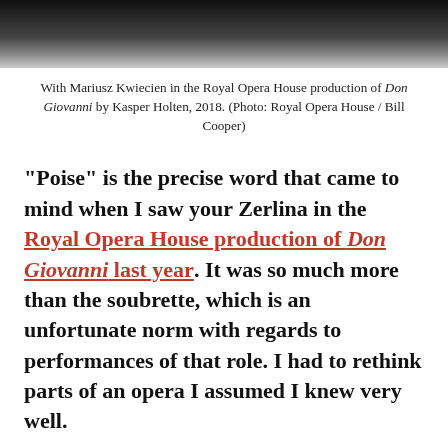[Figure (photo): Cropped photo showing performers in costume, one in a white dress, at the Royal Opera House production of Don Giovanni]
With Mariusz Kwiecien in the Royal Opera House production of Don Giovanni by Kasper Holten, 2018. (Photo: Royal Opera House / Bill Cooper)
“Poise” is the precise word that came to mind when I saw your Zerlina in the Royal Opera House production of Don Giovanni last year. It was so much more than the soubrette, which is an unfortunate norm with regards to performances of that role. I had to rethink parts of an opera I assumed I knew very well.
I don’t like the categories they put us in: “soubrette,” “dramatic soprano” and so on. This is how they have…